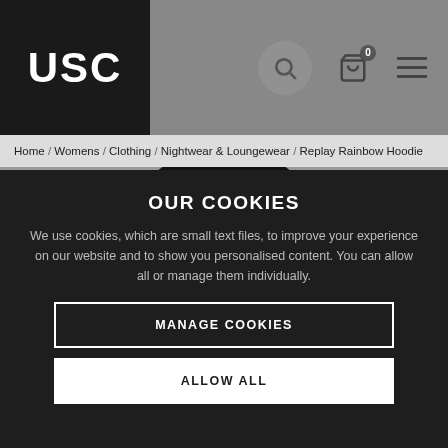USC
Home / Womens / Clothing / Nightwear & Loungewear / Replay Rainbow Hoodie
[Figure (photo): Black Replay hoodie product photo on grey background]
OUR COOKIES
We use cookies, which are small text files, to improve your experience on our website and to show you personalised content. You can allow all or manage them individually.
MANAGE COOKIES
ALLOW ALL